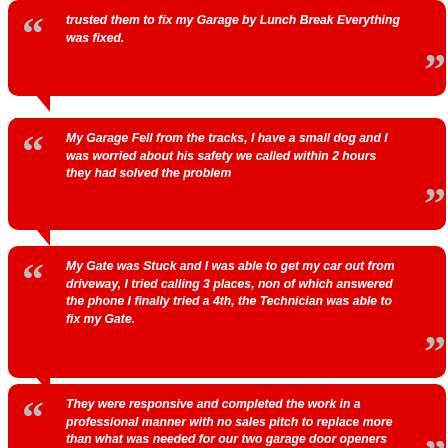trusted them to fix my Garage by Lunch Break Everything was fixed.
Natalie Everston | Winnetka, CA
My Garage Fell from the tracks, I have a small dog and I was worried about his safety we called within 2 hours they had solved the problem
John Forbush | North Hollywood, CA
My Gate was Stuck and I was able to get my car out from driveway, I tried calling 3 places, non of which answered the phone I finally tried a 4th, the Technician was able to fix my Gate.
Alex Waksman | Woodland Hills, CA
They were responsive and completed the work in a professional manner with no sales pitch to replace more than what was needed for our two garage door openers and hardware. Thank you and all the best.